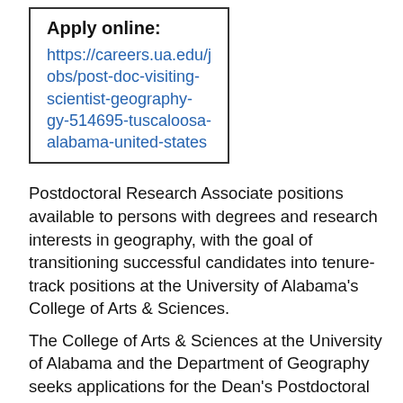Apply online:
https://careers.ua.edu/jobs/post-doc-visiting-scientist-geography-gy-514695-tuscaloosa-alabama-united-states
Postdoctoral Research Associate positions available to persons with degrees and research interests in geography, with the goal of transitioning successful candidates into tenure-track positions at the University of Alabama's College of Arts & Sciences.
The College of Arts & Sciences at the University of Alabama and the Department of Geography seeks applications for the Dean's Postdoctoral Research Associate positions. Successful candidates will hold terminal degrees and demonstrate a record of academic achievement in a geography-related research area. The department will establish a series of structured merit-